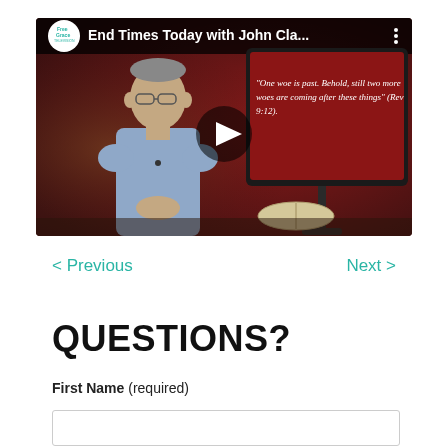[Figure (screenshot): YouTube video thumbnail showing a man in a blue shirt seated at a desk with a TV screen behind him displaying the text 'One woe is past. Behold, still two more woes are coming after these things (Rev 9:12)'. The video title bar reads 'End Times Today with John Cla...' with the Free Grace TV logo. A play button is visible in the center.]
< Previous
Next >
QUESTIONS?
First Name (required)